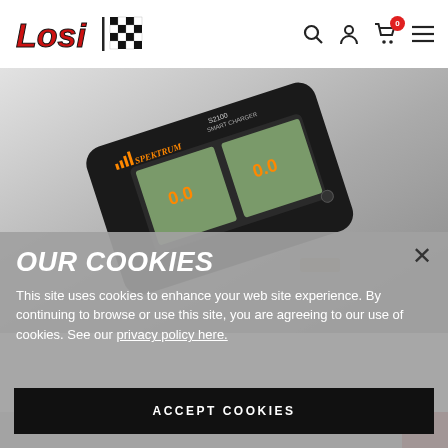[Figure (logo): Losi brand logo with checkered flag pattern]
[Figure (photo): Spektrum S2100 Smart Charger device shown at an angle on a grey background]
OUR COOKIES
This site uses cookies to enhance your web site experience. By continuing to browse or use this site, you are agreeing to our use of cookies. See our privacy policy here.
ACCEPT COOKIES